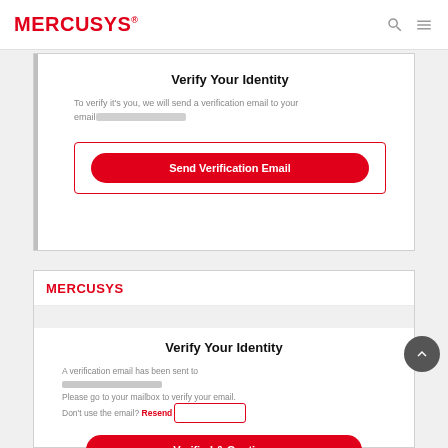MERCUSYS
Verify Your Identity
To verify it's you, we will send a verification email to your email [redacted]
[Figure (screenshot): Send Verification Email button inside a red border box]
[Figure (logo): MERCUSYS logo in red]
Verify Your Identity
A verification email has been sent to [redacted email]. Please go to your mailbox to verify your email. Don't use the email? Resend
[Figure (screenshot): Verified & Continue button in red]